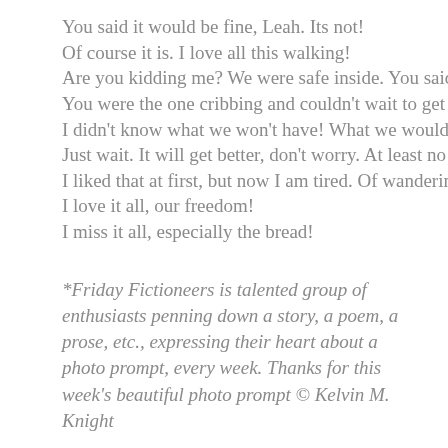You said it would be fine, Leah. Its not!
Of course it is. I love all this walking!
Are you kidding me? We were safe inside. You said it's
You were the one cribbing and couldn't wait to get ou
I didn't know what we won't have! What we would go
Just wait. It will get better, don't worry. At least no one
I liked that at first, but now I am tired. Of wandering!
I love it all, our freedom!
I miss it all, especially the bread!
*Friday Fictioneers is talented group of enthusiasts penning down a story, a poem, a prose, etc., expressing their heart about a photo prompt, every week. Thanks for this week's beautiful photo prompt © Kelvin M. Knight